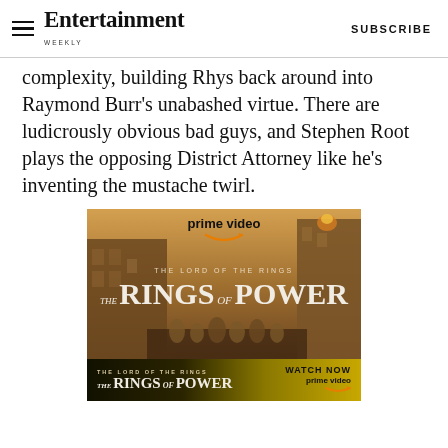Entertainment Weekly — SUBSCRIBE
complexity, building Rhys back around into Raymond Burr's unabashed virtue. There are ludicrously obvious bad guys, and Stephen Root plays the opposing District Attorney like he's inventing the mustache twirl.
[Figure (illustration): Amazon Prime Video advertisement for The Lord of the Rings: The Rings of Power. Upper portion shows a fantasy cityscape with golden-amber tones, featuring the Prime Video logo and show title. Lower strip shows 'THE LORD OF THE RINGS THE RINGS OF POWER WATCH NOW prime video' on a dark gold/black gradient background.]